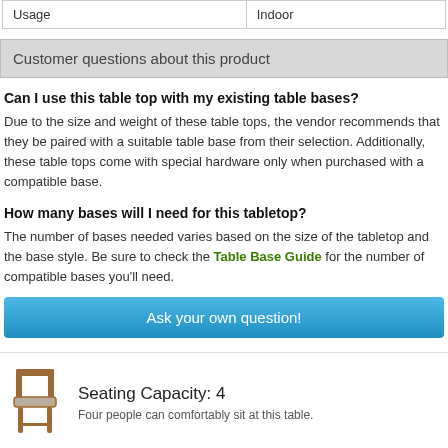| Usage | Indoor |
| --- | --- |
Customer questions about this product
Can I use this table top with my existing table bases?
Due to the size and weight of these table tops, the vendor recommends that they be paired with a suitable table base from their selection. Additionally, these table tops come with special hardware only when purchased with a compatible base.
How many bases will I need for this tabletop?
The number of bases needed varies based on the size of the tabletop and the base style. Be sure to check the Table Base Guide for the number of compatible bases you'll need.
Ask your own question!
[Figure (illustration): Chair icon illustration]
Seating Capacity: 4
Four people can comfortably sit at this table.